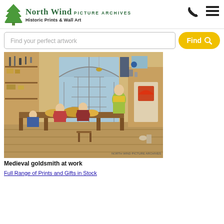North Wind PICTURE ARCHIVES — Historic Prints & Wall Art
Find your perfect artwork
[Figure (illustration): Medieval goldsmith workshop scene showing craftsmen working at a long table with tools, shelves of equipment on the walls, a large arched window, and a fireplace/oven on the right side. Historical engraving, colored print.]
Medieval goldsmith at work
Full Range of Prints and Gifts in Stock